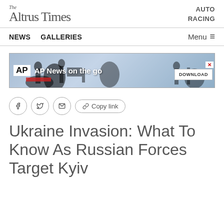The Altrus Times — AUTO RACING
NEWS   GALLERIES   Menu
[Figure (screenshot): AP News advertisement banner: AP logo on left, 'AP News on the go' text in center, DOWNLOAD button on right, X close button, silhouettes of journalists/camera operators in background]
Share buttons: Facebook, Twitter, Email, Copy link
Ukraine Invasion: What To Know As Russian Forces Target Kyiv